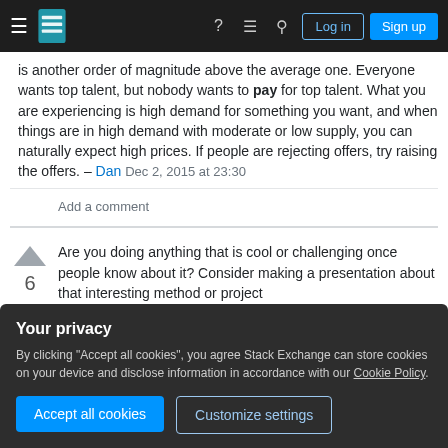Stack Exchange navigation bar with hamburger menu, logo, question mark, chat, search icons, Log in and Sign up buttons
is another order of magnitude above the average one. Everyone wants top talent, but nobody wants to pay for top talent. What you are experiencing is high demand for something you want, and when things are in high demand with moderate or low supply, you can naturally expect high prices. If people are rejecting offers, try raising the offers. – Dan Dec 2, 2015 at 23:30
Add a comment
Are you doing anything that is cool or challenging once people know about it? Consider making a presentation about that interesting method or project
Your privacy
By clicking "Accept all cookies", you agree Stack Exchange can store cookies on your device and disclose information in accordance with our Cookie Policy.
Accept all cookies
Customize settings